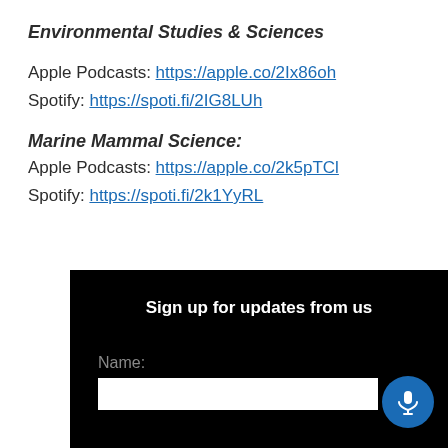Environmental Studies & Sciences
Apple Podcasts: https://apple.co/2Ix86oh
Spotify: https://spoti.fi/2IG8LUh
Marine Mammal Science:
Apple Podcasts: https://apple.co/2k5pTCl
Spotify: https://spoti.fi/2k1YyRL
[Figure (screenshot): Black sign-up form section with 'Sign up for updates from us' heading, a Name: label, and a white input box. A blue circular microphone button appears at the bottom right.]